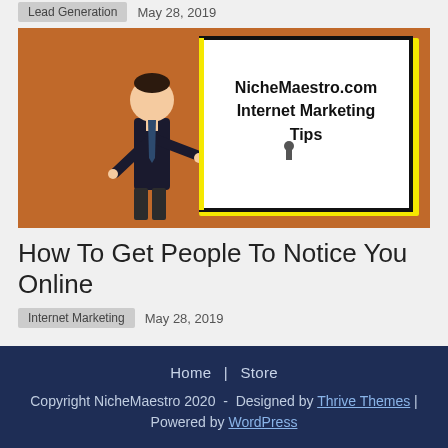Lead Generation   May 28, 2019
[Figure (illustration): Cartoon man in suit presenting at a whiteboard that reads 'NicheMaestro.com Internet Marketing Tips', with an orange background and yellow border on the right side of the whiteboard.]
How To Get People To Notice You Online
Internet Marketing   May 28, 2019
Home | Store
Copyright NicheMaestro 2020 - Designed by Thrive Themes | Powered by WordPress